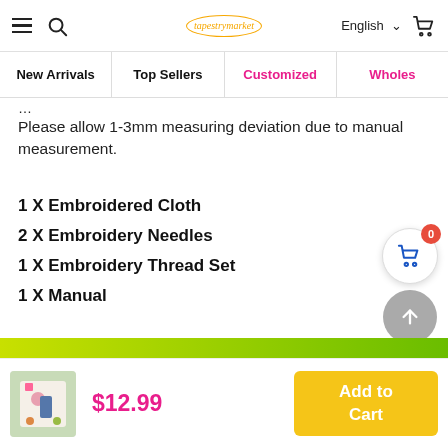≡ 🔍  [logo] English ∨ 🛒
New Arrivals | Top Sellers | Customized | Wholes
Please allow 1-3mm measuring deviation due to manual measurement.
1 X Embroidered Cloth
2 X Embroidery Needles
1 X Embroidery Thread Set
1 X Manual
Sitewide Buy 4 Get 1 Free ( Add 5 To Cart)
$12.99
Add to Cart